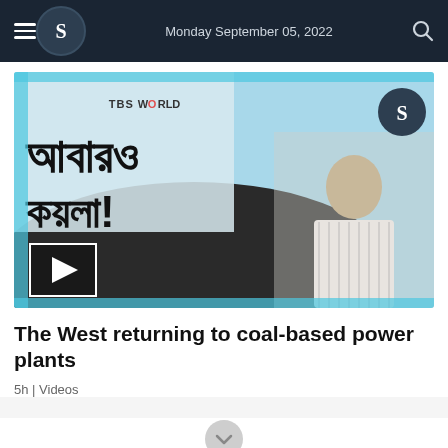Monday September 05, 2022
[Figure (screenshot): Video thumbnail showing Bengali text 'আবারও কয়লা!' (Coal again!) with TBS World branding, a male presenter in a striped shirt, and coal/excavator imagery in background. Play button visible in lower left.]
The West returning to coal-based power plants
5h | Videos